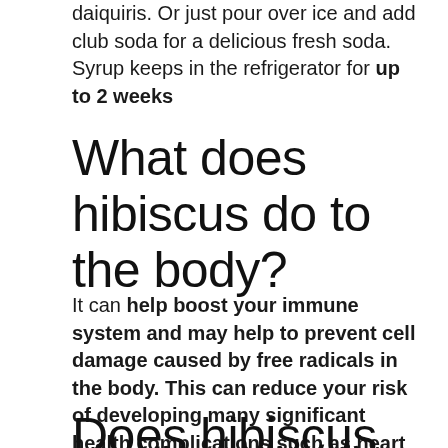daiquiris. Or just pour over ice and add club soda for a delicious fresh soda. Syrup keeps in the refrigerator for up to 2 weeks
What does hibiscus do to the body?
It can help boost your immune system and may help to prevent cell damage caused by free radicals in the body. This can reduce your risk of developing many significant health complications such as heart disease, diabetes, and cancer. Hibiscus tea contains other antioxidants, such as anthocyanins.
Does hibiscus have